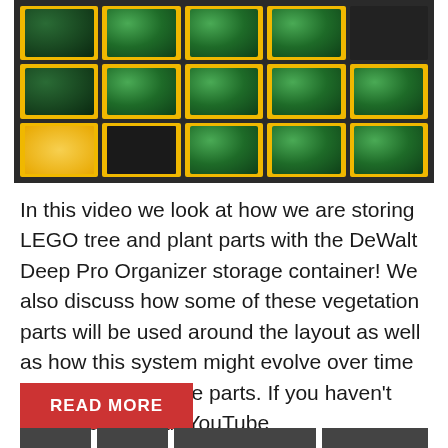[Figure (photo): Photo of a yellow DeWalt Deep Pro Organizer storage container with multiple compartments filled with green LEGO tree and plant parts, along with some orange/yellow pieces and an empty dark compartment.]
In this video we look at how we are storing LEGO tree and plant parts with the DeWalt Deep Pro Organizer storage container! We also discuss how some of these vegetation parts will be used around the layout as well as how this system might evolve over time as we acquire more parts. If you haven't subscribed to our YouTube
READ MORE